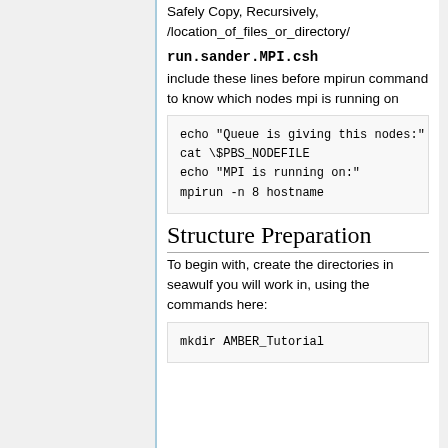Safely Copy, Recursively, /location_of_files_or_directory/
run.sander.MPI.csh
include these lines before mpirun command to know which nodes mpi is running on
echo "Queue is giving this nodes:"
cat \$PBS_NODEFILE
echo "MPI is running on:"
mpirun -n 8 hostname
Structure Preparation
To begin with, create the directories in seawulf you will work in, using the commands here:
mkdir AMBER_Tutorial